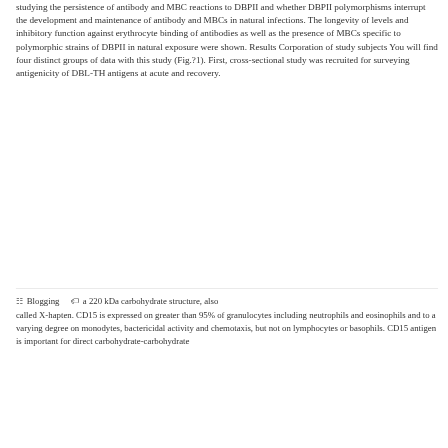studying the persistence of antibody and MBC reactions to DBPII and whether DBPII polymorphisms interrupt the development and maintenance of antibody and MBCs in natural infections. The longevity of levels and inhibitory function against erythrocyte binding of antibodies as well as the presence of MBCs specific to polymorphic strains of DBPII in natural exposure were shown. Results Corporation of study subjects You will find four distinct groups of data with this study (Fig.?1). First, cross-sectional study was recruited for surveying antigenicity of DBL-TH antigens at acute and recovery.
Blogging   a 220 kDa carbohydrate structure, also called X-hapten. CD15 is expressed on greater than 95% of granulocytes including neutrophils and eosinophils and to a varying degree on monodytes, bactericidal activity and chemotaxis, but not on lymphocytes or basophils. CD15 antigen is important for direct carbohydrate-carbohydrate